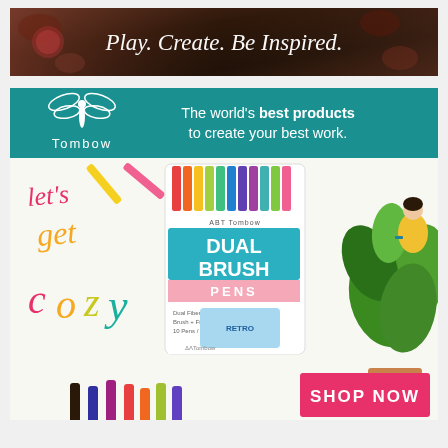[Figure (illustration): Top banner with dark botanical background and italic text reading 'Play. Create. Be Inspired.']
[Figure (infographic): Tombow brand advertisement. Teal header bar with Tombow dragonfly logo and text 'The world's best products to create your best work.' Below: product image of Tombow Dual Brush Pens Retro set, lettering art saying 'let's get cozy', illustration of woman with houseplants, colorful markers at bottom, and pink 'SHOP NOW' button.]